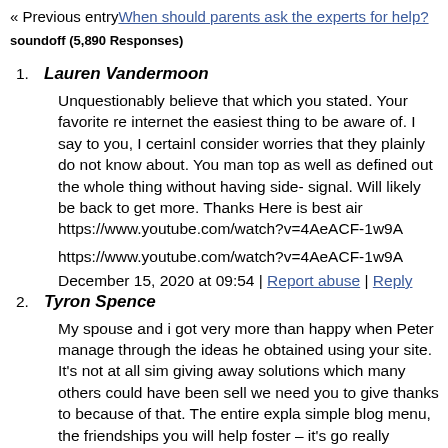« Previous entry When should parents ask the experts for help?
soundoff (5,890 Responses)
1. Lauren Vandermoon
Unquestionably believe that which you stated. Your favorite re internet the easiest thing to be aware of. I say to you, I certainl consider worries that they plainly do not know about. You man top as well as defined out the whole thing without having side- signal. Will likely be back to get more. Thanks Here is best air https://www.youtube.com/watch?v=4AeACF-1w9A
https://www.youtube.com/watch?v=4AeACF-1w9A
December 15, 2020 at 09:54 | Report abuse | Reply
2. Tyron Spence
My spouse and i got very more than happy when Peter manage through the ideas he obtained using your site. It's not at all sim giving away solutions which many others could have been sell we need you to give thanks to because of that. The entire expla simple blog menu, the friendships you will help foster – it's go really assisting our son in addition to us do think that subject is tremendously fundamental. Thank you for the whole lot! Here